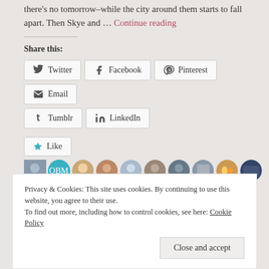there's no tomorrow–while the city around them starts to fall apart. Then Skye and … Continue reading
Share this:
[Figure (infographic): Social share buttons: Twitter, Facebook, Pinterest, Email, Tumblr, LinkedIn]
[Figure (infographic): Like button with star icon and 10 blogger avatar thumbnails]
19 bloggers like this.
Privacy & Cookies: This site uses cookies. By continuing to use this website, you agree to their use. To find out more, including how to control cookies, see here: Cookie Policy
Close and accept